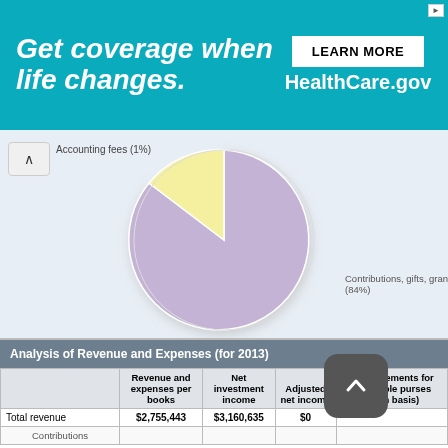[Figure (other): HealthCare.gov advertisement banner: 'Get coverage when life changes. LEARN MORE HealthCare.gov']
[Figure (pie-chart): Expenses breakdown]
|  | Revenue and expenses per books | Net investment income | Adjusted net income | Disbursements for charitable purposes (cash basis) |
| --- | --- | --- | --- | --- |
| Total revenue | $2,755,443 | $3,160,635 | $0 |  |
| Contributions |  |  |  |  |